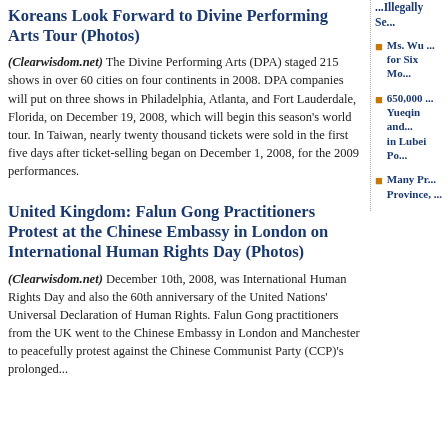Koreans Look Forward to Divine Performing Arts Tour (Photos)
(Clearwisdom.net) The Divine Performing Arts (DPA) staged 215 shows in over 60 cities on four continents in 2008. DPA companies will put on three shows in Philadelphia, Atlanta, and Fort Lauderdale, Florida, on December 19, 2008, which will begin this season's world tour. In Taiwan, nearly twenty thousand tickets were sold in the first five days after ticket-selling began on December 1, 2008, for the 2009 performances.
United Kingdom: Falun Gong Practitioners Protest at the Chinese Embassy in London on International Human Rights Day (Photos)
(Clearwisdom.net) December 10th, 2008, was International Human Rights Day and also the 60th anniversary of the United Nations' Universal Declaration of Human Rights. Falun Gong practitioners from the UK went to the Chinese Embassy in London and Manchester to peacefully protest against the Chinese Communist Party (CCP)'s prolonged...
Illegally Se...
Ms. Wu ... for Six Mo...
650,000 ... Yueqin and ... in Lubei Po...
Many Pr... Province, ...